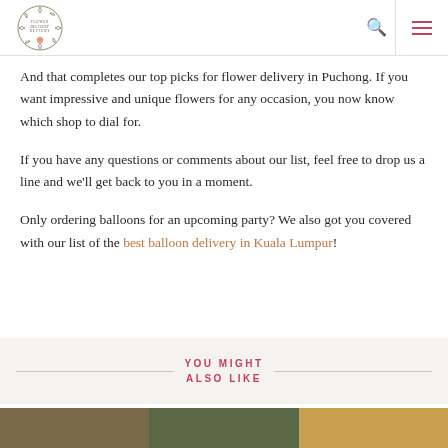Flower Delivery Reviews logo, search icon, menu icon
And that completes our top picks for flower delivery in Puchong. If you want impressive and unique flowers for any occasion, you now know which shop to dial for.
If you have any questions or comments about our list, feel free to drop us a line and we'll get back to you in a moment.
Only ordering balloons for an upcoming party? We also got you covered with our list of the best balloon delivery in Kuala Lumpur!
YOU MIGHT ALSO LIKE
[Figure (photo): Thumbnail images at the bottom of the page showing food/floral arrangements]